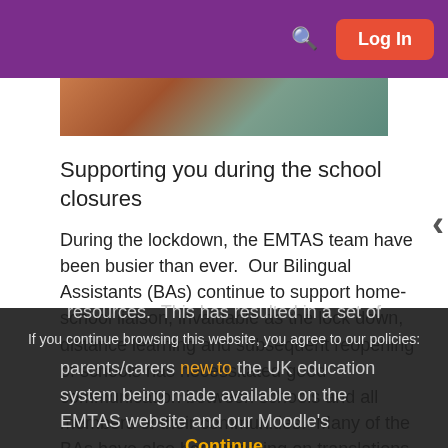Log In
[Figure (photo): Partial view of a photo showing a wooden surface with a teal/turquoise object and what appears to be school/office materials]
Supporting you during the school closures
During the lockdown, the EMTAS team have been busier than ever.  Our Bilingual Assistants (BAs) continue to support home-school liaison, invaluable as the lock down, distance learning and subsequent reopening of schools has necessitated good communication between schools and all members of their communities.  Many of the BAs have also been working on translations of new resources.  This has resulted in a set of
parents/carers new.to the UK education system being made available on the EMTAS website and our Moodle's
If you continue browsing this website, you agree to our policies:
Continue